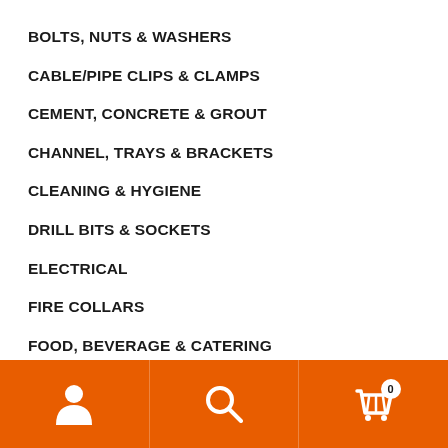BOLTS, NUTS & WASHERS
CABLE/PIPE CLIPS & CLAMPS
CEMENT, CONCRETE & GROUT
CHANNEL, TRAYS & BRACKETS
CLEANING & HYGIENE
DRILL BITS & SOCKETS
ELECTRICAL
FIRE COLLARS
FOOD, BEVERAGE & CATERING
INSULATION
LIFTING & HANDLING